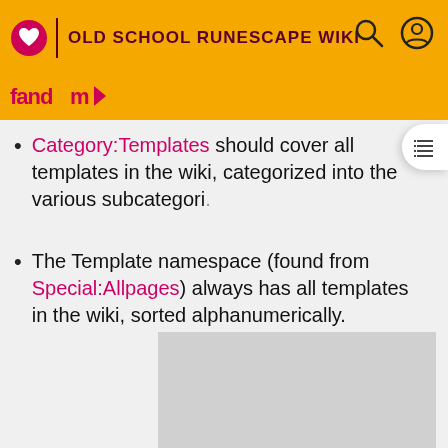OLD SCHOOL RUNESCAPE WIKI
Category:Templates should cover all templates in the wiki, categorized into the various subcategories
The Template namespace (found from Special:Allpages) always has all templates in the wiki, sorted alphanumerically.
[Figure (other): Advertisement placeholder gray box]